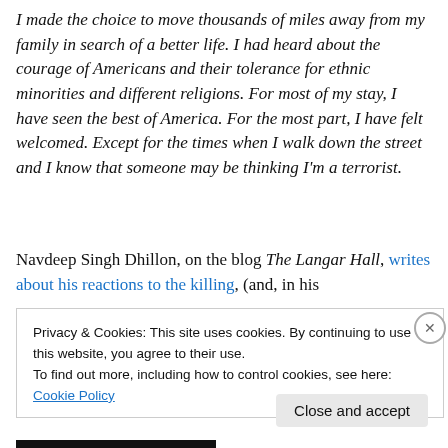I made the choice to move thousands of miles away from my family in search of a better life. I had heard about the courage of Americans and their tolerance for ethnic minorities and different religions. For most of my stay, I have seen the best of America. For the most part, I have felt welcomed. Except for the times when I walk down the street and I know that someone may be thinking I'm a terrorist.
Navdeep Singh Dhillon, on the blog The Langar Hall, writes about his reactions to the killing, (and, in his
Privacy & Cookies: This site uses cookies. By continuing to use this website, you agree to their use. To find out more, including how to control cookies, see here: Cookie Policy